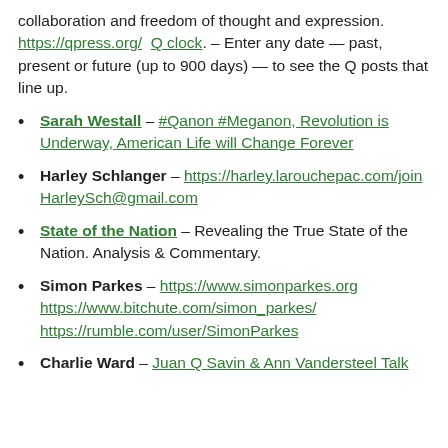collaboration and freedom of thought and expression. https://qpress.org/  Q clock. – Enter any date — past, present or future (up to 900 days) — to see the Q posts that line up.
Sarah Westall – #Qanon #Meganon, Revolution is Underway, American Life will Change Forever
Harley Schlanger – https://harley.larouchepac.com/join HarleySch@gmail.com
State of the Nation – Revealing the True State of the Nation. Analysis & Commentary.
Simon Parkes – https://www.simonparkes.org https://www.bitchute.com/simon_parkes/ https://rumble.com/user/SimonParkes
Charlie Ward – Juan Q Savin & Ann Vandersteel Talk